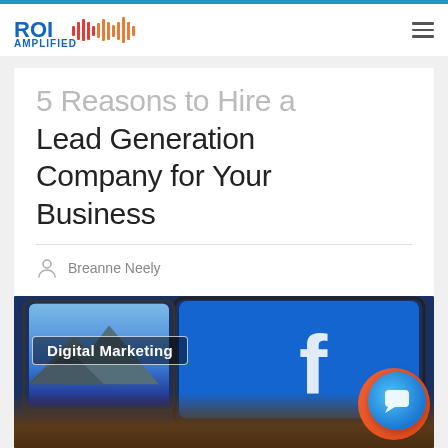ROI AMPLIFIED
5 Reasons to Hire a Lead Generation Company for Your Business
Breanne Neely
[Figure (photo): Person typing on a laptop showing Facebook logo on screen, with tablet in background. Overlaid with 'Digital Marketing' tag.]